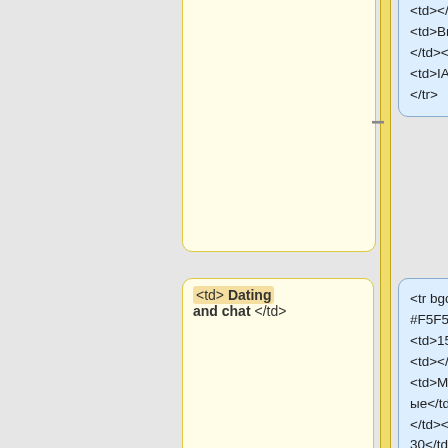[Figure (flowchart): A vertical timeline/flowchart showing code snippet nodes connected by a yellow vertical line with minus and plus buttons. Three rows visible: top row shows a blank left box and right box with HTML table code including <td></td>, <td>Викторины</td><td></td>, <td>IAB9-5</td>, </tr>. Middle row shows left box with '<td> Dating and chat </td>' and right box with '<tr bgcolor=#F5F5F5><td>1514</td><td></td><td>Музыкальные</td><td></td><td>IAB9-30</td></tr>'. Bottom row shows left box with '</tr>' and right box with '<tr bgcolor=#F5F5F5><td>1515</td><td></td><td>Обучающие</td><td></td><td>IAB5-1</td></tr>'.]